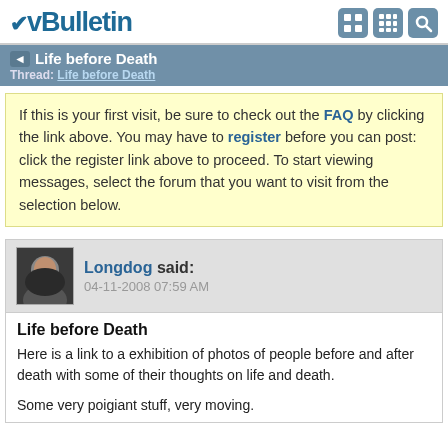vBulletin
Life before Death — Thread: Life before Death
If this is your first visit, be sure to check out the FAQ by clicking the link above. You may have to register before you can post: click the register link above to proceed. To start viewing messages, select the forum that you want to visit from the selection below.
Longdog said: 04-11-2008 07:59 AM
Life before Death
Here is a link to a exhibition of photos of people before and after death with some of their thoughts on life and death.
Some very poigiant stuff, very moving.